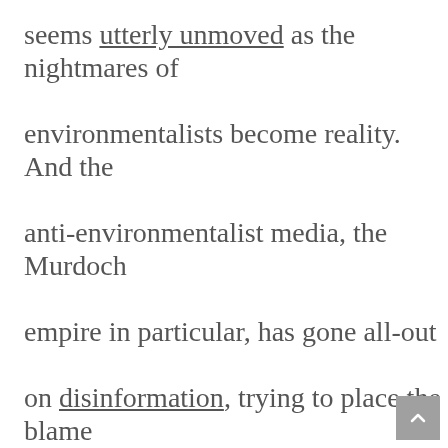seems utterly unmoved as the nightmares of environmentalists become reality. And the anti-environmentalist media, the Murdoch empire in particular, has gone all-out on disinformation, trying to place the blame on arsonists and “greenies” who won’t let fire services get rid of enough trees.